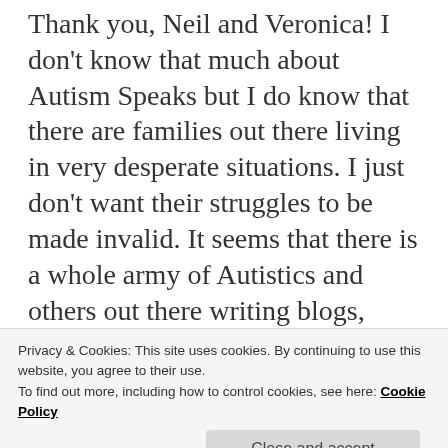Thank you, Neil and Veronica! I don't know that much about Autism Speaks but I do know that there are families out there living in very desperate situations. I just don't want their struggles to be made invalid. It seems that there is a whole army of Autistics and others out there writing blogs, articles, etc. that discredit these families reality because it doesn't portray Autism the way the writers feel Autism should be portrayed. These families are real and they need HELP. NOW. The only way they are going to get help is if the public is aware of how desperate Autism CAN be. Yes, there are all
Privacy & Cookies: This site uses cookies. By continuing to use this website, you agree to their use.
To find out more, including how to control cookies, see here: Cookie Policy
Close and accept
We need to band together and not let ourselves be